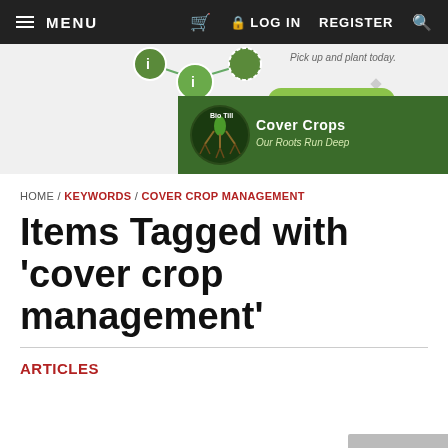MENU   [cart]   LOG IN   REGISTER   [search]
[Figure (screenshot): Website navigation bar with hamburger menu (MENU), cart icon, LOG IN, REGISTER, and search icon on dark background]
[Figure (infographic): Partial green network diagram with circular nodes and connecting lines, 'Pick up and plant today.' text, and green 'LOCATE DEALER' button]
[Figure (logo): Bio Till Cover Crops banner with green triangular shape and logo: circular plant/root illustration, text 'Cover Crops Our Roots Run Deep']
HOME / KEYWORDS / COVER CROP MANAGEMENT
Items Tagged with 'cover crop management'
ARTICLES